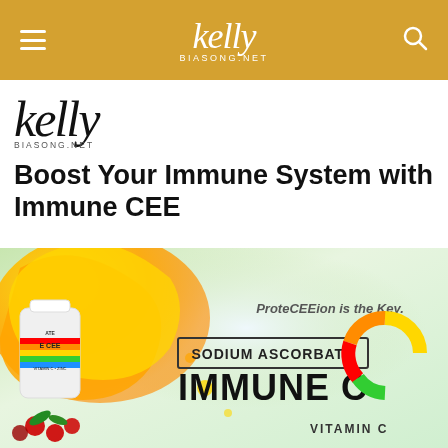kelly BIASONG.NET
[Figure (logo): Kelly Biasong.net logo in content area]
Boost Your Immune System with Immune CEE
[Figure (photo): Product banner showing Immune CEE vitamin C + zinc supplement bottle with orange splash background, text reading 'ProteCEEion is the Key.', 'SODIUM ASCORBATE', 'IMMUNE CEE', 'VITAMIN C' with colorful arc logo]